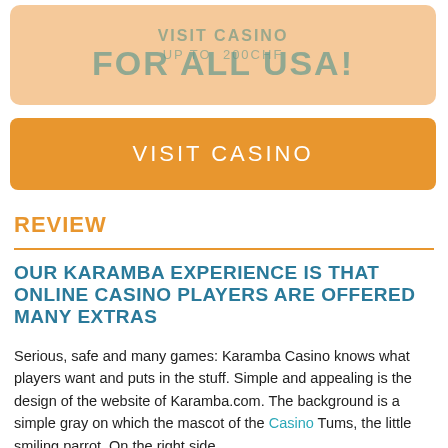[Figure (other): Promotional banner with peach/salmon background showing overlapping text: 'UP TO 200CHF' and 'VISIT CASINO' overlaid with 'FOR ALL USA!' in teal/olive color]
[Figure (other): Orange 'VISIT CASINO' call-to-action button]
REVIEW
OUR KARAMBA EXPERIENCE IS THAT ONLINE CASINO PLAYERS ARE OFFERED MANY EXTRAS
Serious, safe and many games: Karamba Casino knows what players want and puts in the stuff. Simple and appealing is the design of the website of Karamba.com. The background is a simple gray on which the mascot of the Casino Tums, the little smiling parrot. On the right side